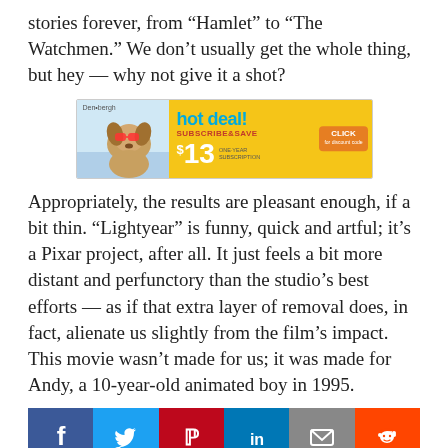stories forever, from “Hamlet” to “The Watchmen.” We don’t usually get the whole thing, but hey — why not give it a shot?
[Figure (infographic): Advertisement: 'hot deal! $13 SUBSCRIBE&SAVE ONE-YEAR SUBSCRIPTION CLICK' with a dog wearing sunglasses on the left and a yellow background with a sun graphic on the right.]
Appropriately, the results are pleasant enough, if a bit thin. “Lightyear” is funny, quick and artful; it’s a Pixar project, after all. It just feels a bit more distant and perfunctory than the studio’s best efforts — as if that extra layer of removal does, in fact, alienate us slightly from the film’s impact. This movie wasn’t made for us; it was made for Andy, a 10-year-old animated boy in 1995.
[Figure (infographic): Social sharing buttons: Facebook, Twitter, Pinterest, LinkedIn, Email, Reddit]